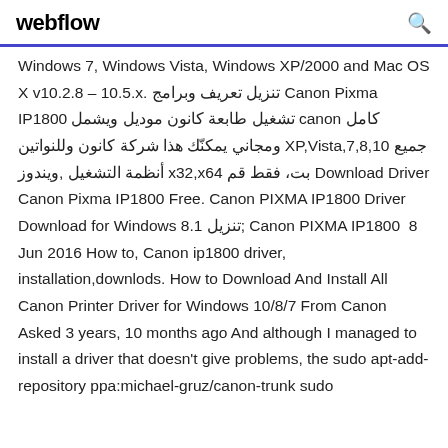webflow
Windows 7, Windows Vista, Windows XP/2000 and Mac OS X v10.2.8 – 10.5.x. تنزيل تعريف وبرامج Canon Pixma IP1800 تشغيل طابعة كانون موديل ويشمل canon كامل ومجاني يمكنّك هذا شركة كانون وللنواتين XP,Vista,7,8,10 جميع أنظمة التشغيل ,ويندوز x32,x64 بت، فقط قم Download Driver Canon Pixma IP1800 Free. Canon PIXMA IP1800 Driver Download for Windows 8.1 تنزيل; Canon PIXMA IP1800  8 Jun 2016 How to, Canon ip1800 driver, installation,downlods. How to Download And Install All Canon Printer Driver for Windows 10/8/7 From Canon  Asked 3 years, 10 months ago And although I managed to install a driver that doesn't give problems, the sudo apt-add-repository ppa:michael-gruz/canon-trunk sudo